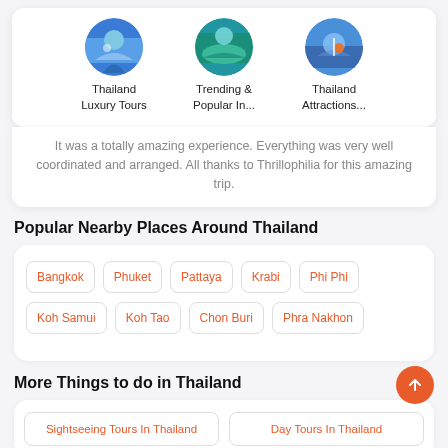[Figure (illustration): Three circular thumbnail images for Thailand Luxury Tours, Trending & Popular In..., and Thailand Attractions...]
Thailand Luxury Tours
Trending & Popular In...
Thailand Attractions...
It was a totally amazing experience. Everything was very well coordinated and arranged. All thanks to Thrillophilia for this amazing trip.
Popular Nearby Places Around Thailand
Bangkok
Phuket
Pattaya
Krabi
Phi Phi
Koh Samui
Koh Tao
Chon Buri
Phra Nakhon
More Things to do in Thailand
Sightseeing Tours In Thailand
Day Tours In Thailand